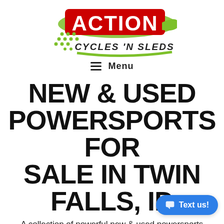[Figure (logo): Action Cycles 'N Sleds logo: red bold 'ACTION' text with green swoosh graphic and dotted green accent, 'CYCLES 'N SLEDS' in dark stylized text below]
Menu
NEW & USED POWERSPORTS FOR SALE IN TWIN FALLS, ID
A collection of powerful new & used powersports vehicles can be found at Action Cycles 'N Sleds - the largest inventory in Twin Falls, ID
Discover your next adventure powersports vehicles that give you unvielding intensity and uncompromising